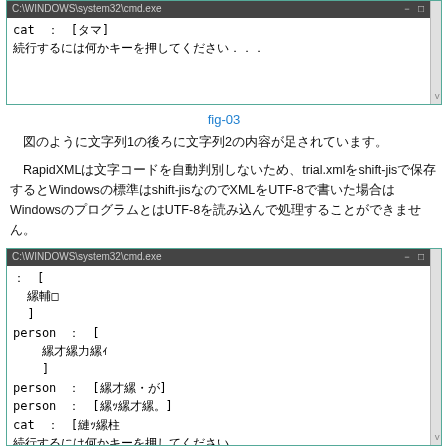[Figure (screenshot): Console window showing cat : [タマ] and 続行するには何かキーを押してください . . .]
fig-03
図のように文字列1の後ろに文字列2の内容が足されています。
RapidXMLは文字コードを自動判別しないため、trial.xmlをshift-jisで保存するとWindowsの標準はshift-jisなのでXMLをUTF-8で書いた場合はWindowsのプログラムとはUTF-8を読み込んで処理することができません。
[Figure (screenshot): Console window showing person and cat data in Japanese, with 続行するには何かキーを押してください . . .]